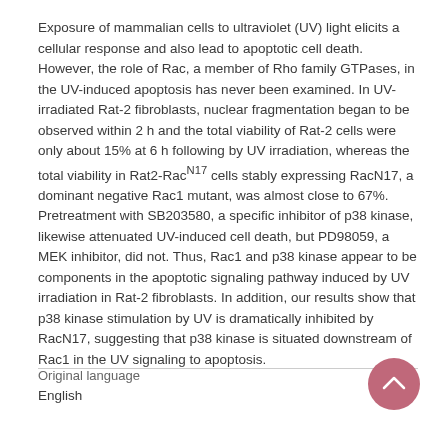Exposure of mammalian cells to ultraviolet (UV) light elicits a cellular response and also lead to apoptotic cell death. However, the role of Rac, a member of Rho family GTPases, in the UV-induced apoptosis has never been examined. In UV-irradiated Rat-2 fibroblasts, nuclear fragmentation began to be observed within 2 h and the total viability of Rat-2 cells were only about 15% at 6 h following by UV irradiation, whereas the total viability in Rat2-RacN17 cells stably expressing RacN17, a dominant negative Rac1 mutant, was almost close to 67%. Pretreatment with SB203580, a specific inhibitor of p38 kinase, likewise attenuated UV-induced cell death, but PD98059, a MEK inhibitor, did not. Thus, Rac1 and p38 kinase appear to be components in the apoptotic signaling pathway induced by UV irradiation in Rat-2 fibroblasts. In addition, our results show that p38 kinase stimulation by UV is dramatically inhibited by RacN17, suggesting that p38 kinase is situated downstream of Rac1 in the UV signaling to apoptosis.
Original language
English